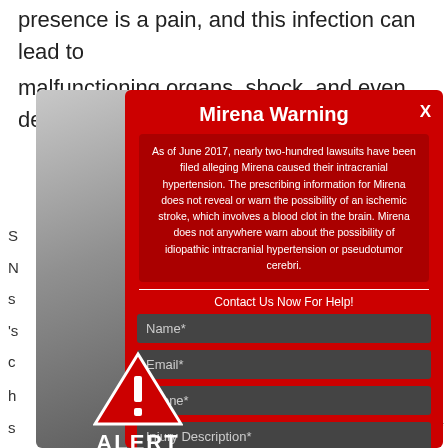presence is a pain, and this infection can lead to malfunctioning organs, shock, and even death.
[Figure (infographic): A modal popup alert dialog with red background, titled 'Mirena Warning'. Contains a gray curved left panel with a warning triangle ALERT icon and an info icon beneath. The modal contains warning text about Mirena lawsuits and intracranial hypertension, a contact form with fields for Name*, Email*, Phone*, and Injury Description*.]
Mirena Warning
As of June 2017, nearly two-hundred lawsuits have been filed alleging Mirena caused their intracranial hypertension. The prescribing information for Mirena does not reveal or warn the possibility of an ischemic stroke, which involves a blood clot in the brain. Mirena does not anywhere warn about the possibility of idiopathic intracranial hypertension or pseudotumor cerebri.
Contact Us Now For Help!
Name*
Email*
Phone*
Injury Description*